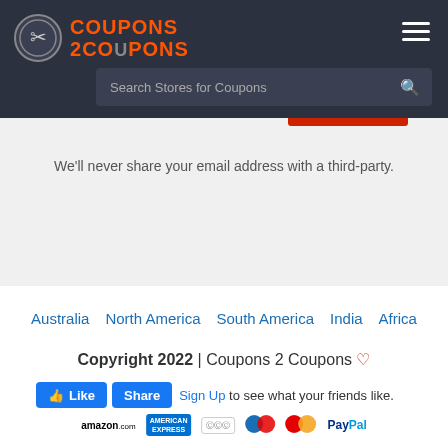Coupons 2 Coupons
Search Stores for Coupons
We'll never share your email address with a third-party.
Australia
North America
South America
India
Africa
Copyright 2022 | Coupons 2 Coupons ♡
Like  Share  Sign Up to see what your friends like.
[Figure (logo): Payment method logos: amazon.com, American Express, Discover, Maestro, Mastercard, PayPal]